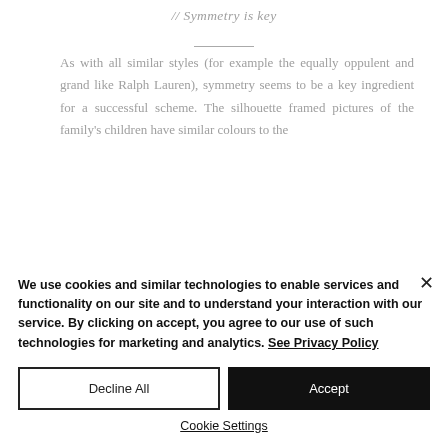// Symmetry is key
As with all similar styles (for example the equally oppulent and grand like Ralph Lauren), symmetry seems to be a key ingredient for a successful scheme. The silhouette framed pictures of the family's children have similar colours to the
We use cookies and similar technologies to enable services and functionality on our site and to understand your interaction with our service. By clicking on accept, you agree to our use of such technologies for marketing and analytics. See Privacy Policy
Decline All
Accept
Cookie Settings